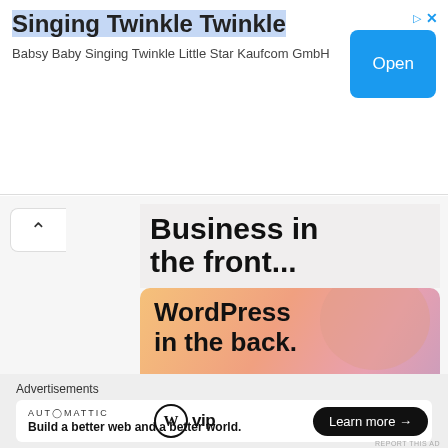Singing Twinkle Twinkle
Babsy Baby Singing Twinkle Little Star Kaufcom GmbH
[Figure (screenshot): Open button (blue rounded rectangle) for app ad]
[Figure (screenshot): WordPress VIP advertisement banner with text 'Business in the front... WordPress in the back.' featuring orange/pink gradient background, WP VIP logo, and Learn more button]
Advertisements
[Figure (screenshot): Automattic advertisement: 'Build a better web and a better world.']